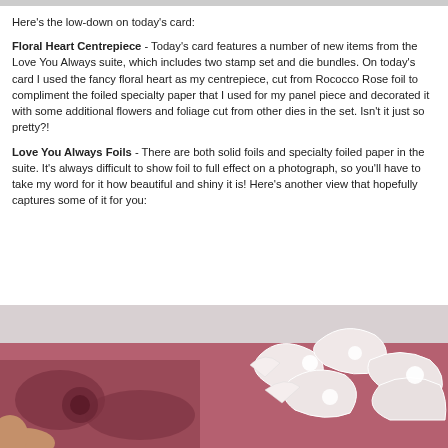Here's the low-down on today's card:
Floral Heart Centrepiece - Today's card features a number of new items from the Love You Always suite, which includes two stamp set and die bundles. On today's card I used the fancy floral heart as my centrepiece, cut from Rococco Rose foil to compliment the foiled specialty paper that I used for my panel piece and decorated it with some additional flowers and foliage cut from other dies in the set. Isn't it just so pretty?!
Love You Always Foils - There are both solid foils and specialty foiled paper in the suite. It's always difficult to show foil to full effect on a photograph, so you'll have to take my word for it how beautiful and shiny it is! Here's another view that hopefully captures some of it for you:
[Figure (photo): Close-up photograph of a hand holding a mauve/rose-coloured card with white foil floral die-cut decorations including flowers and leaves layered on a dark stamped floral background paper.]